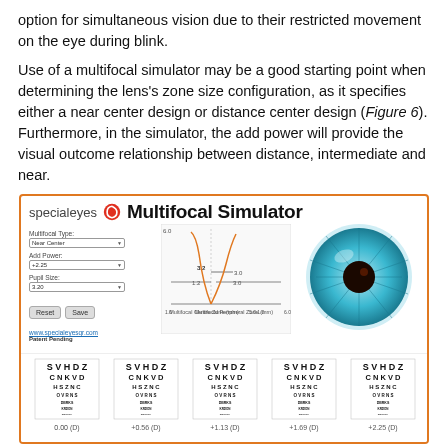option for simultaneous vision due to their restricted movement on the eye during blink.
Use of a multifocal simulator may be a good starting point when determining the lens's zone size configuration, as it specifies either a near center design or distance center design (Figure 6). Furthermore, in the simulator, the add power will provide the visual outcome relationship between distance, intermediate and near.
[Figure (screenshot): Screenshot of the specialeyes Multifocal Simulator software interface showing multifocal type controls (Near Center), add power (+2.25), pupil size (3.20), reset/save buttons, a graph with multifocal zone axes, a rendered eye diagram (blue iris with dark pupil), and five Snellen vision chart panels at the bottom with labels 0.00 (D), +0.56 (D), +1.13 (D), +1.69 (D), +2.25 (D).]
Figure 6